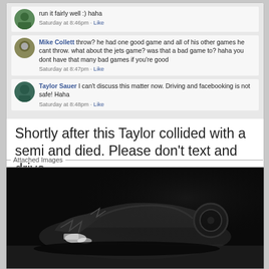run it fairly well :) haha
Saturday at 8:46pm · Like
Mike Collett throw? he had one good game and all of his other games he cant throw. what about the jets game? was that a bad game to? haha you dont have that many bad games if you're good
Saturday at 8:47pm · Like
Taylor Sauer I can't discuss this matter now. Driving and facebooking is not safe! Haha
Saturday at 8:48pm · Like
Shortly after this Taylor collided with a semi and died. Please don't text and drive.
Attached Images
[Figure (photo): Wrecked overturned car at night, severely damaged from collision]